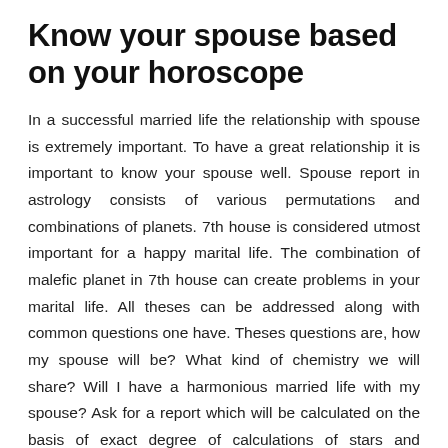Know your spouse based on your horoscope
In a successful married life the relationship with spouse is extremely important. To have a great relationship it is important to know your spouse well. Spouse report in astrology consists of various permutations and combinations of planets. 7th house is considered utmost important for a happy marital life. The combination of malefic planet in 7th house can create problems in your marital life. All theses can be addressed along with common questions one have. Theses questions are, how my spouse will be? What kind of chemistry we will share? Will I have a harmonious married life with my spouse? Ask for a report which will be calculated on the basis of exact degree of calculations of stars and answers to all your questions will be provided by our expert.